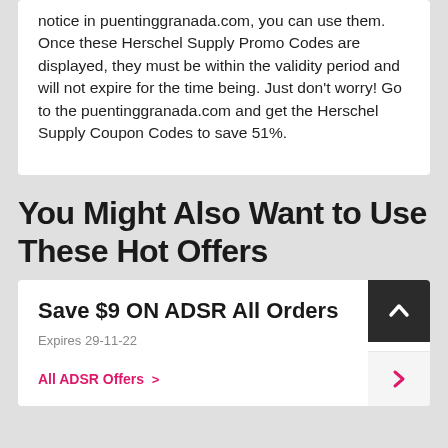notice in puentinggranada.com, you can use them. Once these Herschel Supply Promo Codes are displayed, they must be within the validity period and will not expire for the time being. Just don't worry! Go to the puentinggranada.com and get the Herschel Supply Coupon Codes to save 51%.
You Might Also Want to Use These Hot Offers
Save $9 ON ADSR All Orders
Expires 29-11-22
All ADSR Offers >